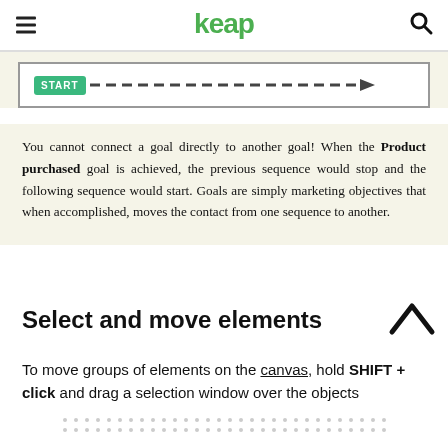keap
[Figure (screenshot): Screenshot showing a START button connected to a long dashed arrow pointing right, inside a white bordered box on a beige background.]
You cannot connect a goal directly to another goal! When the Product purchased goal is achieved, the previous sequence would stop and the following sequence would start. Goals are simply marketing objectives that when accomplished, moves the contact from one sequence to another.
Select and move elements
To move groups of elements on the canvas, hold SHIFT + click and drag a selection window over the objects